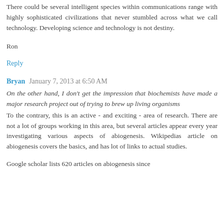There could be several intelligent species within communications range with highly sophisticated civilizations that never stumbled across what we call technology. Developing science and technology is not destiny.
Ron
Reply
Bryan  January 7, 2013 at 6:50 AM
On the other hand, I don't get the impression that biochemists have made a major research project out of trying to brew up living organisms
To the contrary, this is an active - and exciting - area of research. There are not a lot of groups working in this area, but several articles appear every year investigating various aspects of abiogenesis. Wikipedias article on abiogenesis covers the basics, and has lot of links to actual studies.
Google scholar lists 620 articles on abiogenesis since